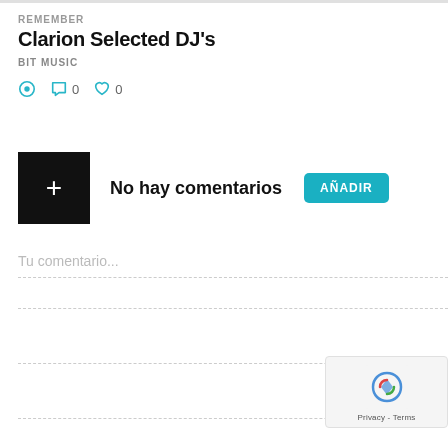REMEMBER
Clarion Selected DJ's
BIT MUSIC
[Figure (infographic): Icons row: play/clock icon, comment bubble with 0, heart with 0]
[Figure (infographic): Black plus box, 'No hay comentarios' text, and AÑADIR teal button]
Tu comentario...
[Figure (other): reCAPTCHA widget with Privacy - Terms text]